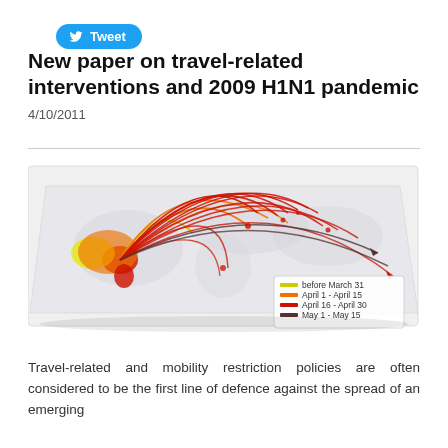[Figure (other): Twitter Tweet button with bird logo in blue rounded rectangle]
New paper on travel-related interventions and 2009 H1N1 pandemic
4/10/2011
[Figure (map): 3D perspective map showing flight routes from Mexico/North America spreading globally during H1N1 pandemic. Colored arcs show spread by time period: yellow (before March 31), orange (April 1 - April 15), red (April 16 - April 30), dark/black (May 1 - May 15). Legend shown in lower right of map.]
Travel-related and mobility restriction policies are often considered to be the first line of defence against the spread of an emerging infectious disease. The evidence of travel-restriction measures on...